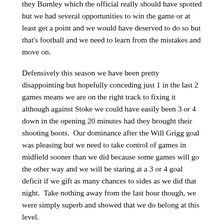they Burnley which the official really should have spotted but we had several opportunities to win the game or at least get a point and we would have deserved to do so but that's football and we need to learn from the mistakes and move on.
Defensively this season we have been pretty disappointing but hopefully conceding just 1 in the last 2 games means we are on the right track to fixing it although against Stoke we could have easily been 3 or 4 down in the opening 20 minutes had they brought their shooting boots.  Our dominance after the Will Grigg goal was pleasing but we need to take control of games in midfield sooner than we did because some games will go the other way and we will be staring at a 3 or 4 goal deficit if we gift as many chances to sides as we did that night.  Take nothing away from the last hour though, we were simply superb and showed that we do belong at this level.